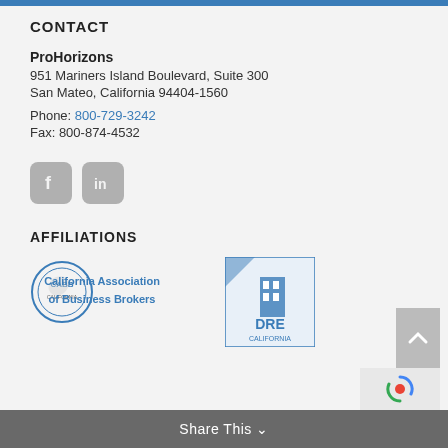CONTACT
ProHorizons
951 Mariners Island Boulevard, Suite 300
San Mateo, California 94404-1560
Phone: 800-729-3242
Fax: 800-874-4532
[Figure (logo): Facebook and LinkedIn social media icons (grey rounded squares)]
AFFILIATIONS
[Figure (logo): California Association of Business Brokers (CABB) logo and DRE California logo]
Share This